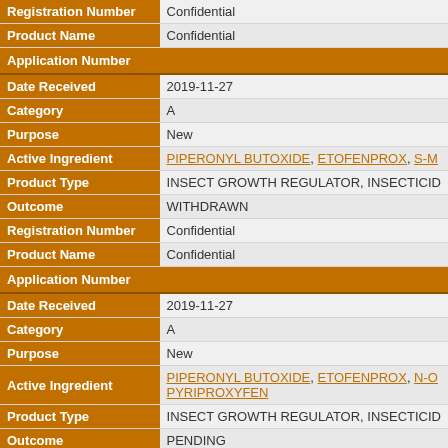| Field | Value |
| --- | --- |
| Registration Number | Confidential |
| Product Name | Confidential |
| Application Number | 2019-6644 |
| Date Received | 2019-11-27 |
| Category | A |
| Purpose | New |
| Active Ingredient | PIPERONYL BUTOXIDE, ETOFENPROX, S-M... |
| Product Type | INSECT GROWTH REGULATOR, INSECTICID... |
| Outcome | WITHDRAWN |
| Registration Number | Confidential |
| Product Name | Confidential |
| Application Number | 2019-6645 |
| Date Received | 2019-11-27 |
| Category | A |
| Purpose | New |
| Active Ingredient | PIPERONYL BUTOXIDE, ETOFENPROX, N-O... PYRIPROXYFEN |
| Product Type | INSECT GROWTH REGULATOR, INSECTICID... |
| Outcome | PENDING |
| Registration Number | Confidential |
| Product Name | Confidential |
| Application Number | 2019-6646 |
| Date Received | 2019-11-27 |